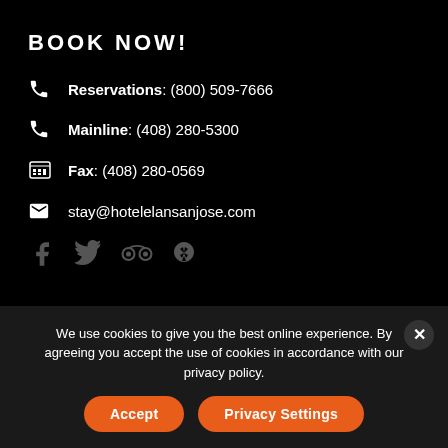BOOK NOW!
Reservations: (800) 509-7666
Mainline: (408) 280-5300
Fax: (408) 280-0569
stay@hotelelansanjose.com
[Figure (other): Social media icons: Facebook, Twitter, TripAdvisor, Yelp]
We use cookies to give you the best online experience. By agreeing you accept the use of cookies in accordance with our privacy policy.
Accept
Privacy Settings